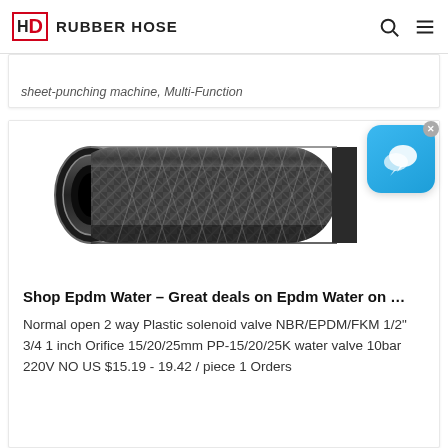HD RUBBER HOSE
sheet-punching machine, Multi-Function
[Figure (photo): Black braided rubber hydraulic hose, cylindrical, with diamond-patterned textile reinforcement visible on exterior, photographed against white background. Blue chat widget with speech bubble icon in upper right corner.]
Shop Epdm Water – Great deals on Epdm Water on …
Normal open 2 way Plastic solenoid valve NBR/EPDM/FKM 1/2" 3/4 1 inch Orifice 15/20/25mm PP-15/20/25K water valve 10bar 220V NO US $15.19 - 19.42 / piece 1 Orders